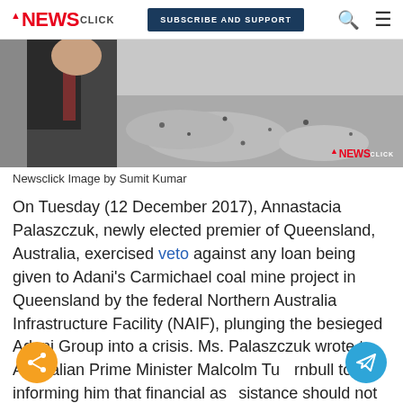NEWS CLICK | SUBSCRIBE AND SUPPORT
[Figure (photo): Black and white photo of a person in a suit with coal/mining imagery, with Newsclick watermark logo in bottom right corner]
Newsclick Image by Sumit Kumar
On Tuesday (12 December 2017), Annastacia Palaszczuk, newly elected premier of Queensland, Australia, exercised veto against any loan being given to Adani's Carmichael coal mine project in Queensland by the federal Northern Australia Infrastructure Facility (NAIF), plunging the besieged Adani Group into a crisis. Ms. Palaszczuk wrote to Australian Prime Minister Malcolm Turnbull today informing him that financial assistance should not be provided for the